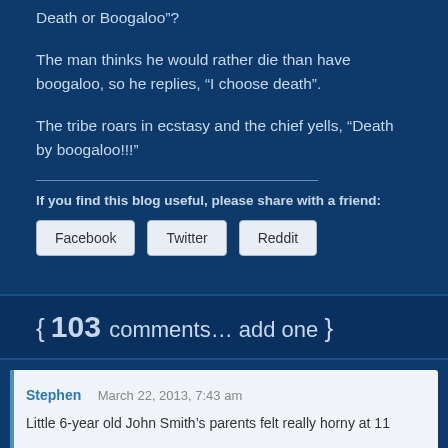Death or Boogaloo”?
The man thinks he would rather die than have boogaloo, so he replies, “I choose death”.
The tribe roars in ecstasy and the chief yells, “Death by boogaloo!!!”
If you find this blog useful, please share with a friend:
Facebook   Twitter   Reddit
103 comments… add one
Stephen   March 22, 2013, 7:43 am
Little 6-year old John Smith’s parents felt really horny at 11